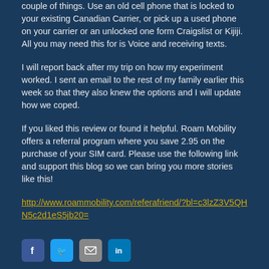couple of things. Use an old cell phone that is locked to your existing Canadian Carrier, or pick up a used phone on your carrier or an unlocked one form Craigslist or Kijiji. All you may need this for is Voice and receiving texts.
I will report back after my trip on how my experiment worked. I sent an email to the rest of my family earlier this week so that they also knew the options and I will update how we coped.
If you liked this review or found it helpful. Roam Mobility offers a referral program where you save 2.95 on the purchase of your SIM card. Please use the following link and support this blog so we can bring you more stories like this!
http://www.roammobility.com/referafriend/?bl=c3lzZ3V5QHN5c2d1eS5jb20=
[Figure (other): Social media sharing icons: Facebook, Twitter, Email/Share, LinkedIn]